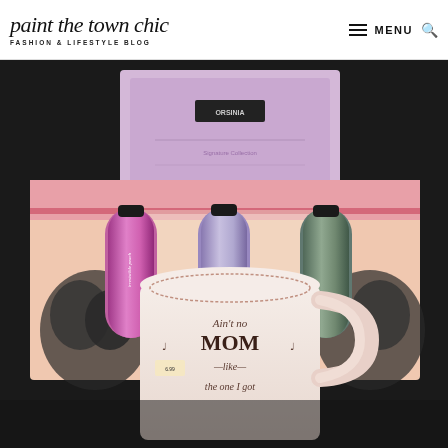paint the town chic — FASHION & LIFESTYLE BLOG
[Figure (photo): A photo of Mother's Day gift products: a pink floral-printed gift box set with multiple metallic hand cream tubes (pink, lilac, teal/green), and in the foreground a white ceramic mug with text 'Ain't no MOM like the one I got' with heart decorations around the rim interior. In the background is a lavender/purple gift box.]